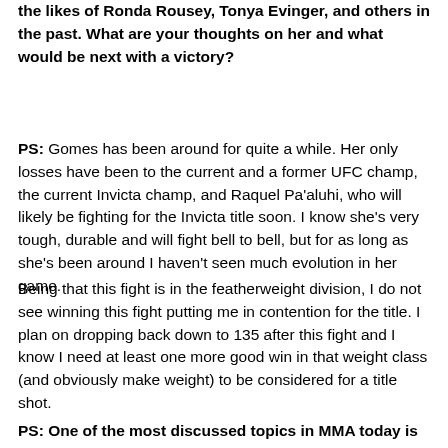the likes of Ronda Rousey, Tonya Evinger, and others in the past. What are your thoughts on her and what would be next with a victory?
PS: Gomes has been around for quite a while. Her only losses have been to the current and a former UFC champ, the current Invicta champ, and Raquel Pa'aluhi, who will likely be fighting for the Invicta title soon. I know she's very tough, durable and will fight bell to bell, but for as long as she's been around I haven't seen much evolution in her game.
Being that this fight is in the featherweight division, I do not see winning this fight putting me in contention for the title. I plan on dropping back down to 135 after this fight and I know I need at least one more good win in that weight class (and obviously make weight) to be considered for a title shot.
PS: One of the most discussed topics in MMA today is